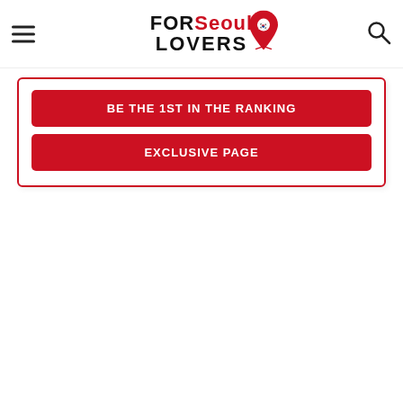FOR Seoul LOVERS
BE THE 1ST IN THE RANKING
EXCLUSIVE PAGE